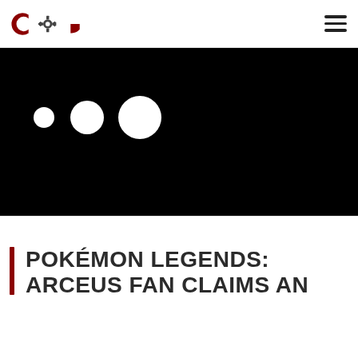COG logo and navigation hamburger menu
[Figure (other): Black hero image with three white loading dots of increasing size on a black background]
POKÉMON LEGENDS: ARCEUS FAN CLAIMS AN